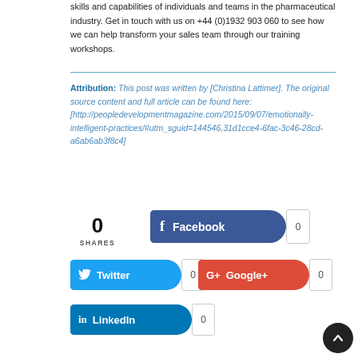skills and capabilities of individuals and teams in the pharmaceutical industry. Get in touch with us on +44 (0)1932 903 060 to see how we can help transform your sales team through our training workshops.
Attribution: This post was written by [Christina Lattimer]. The original source content and full article can be found here: [http://peopledevelopmentmagazine.com/2015/09/07/emotionally-intelligent-practices/#utm_sguid=144546,31d1cce4-6fac-3c46-28cd-a6ab6ab3f8c4]
[Figure (infographic): Social share widget showing 0 SHARES with Facebook (0), Twitter (0), Google+ (0), and LinkedIn (0) buttons]
[Figure (other): Back to top circular dark button with upward arrow]